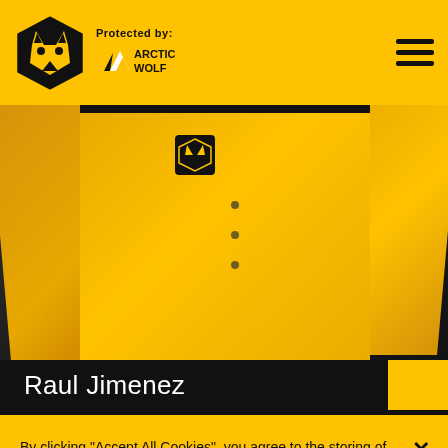Protected by: ARCTIC WOLF
[Figure (photo): Close-up photo of football player in yellow Wolverhampton Wanderers jersey, showing torso and arms]
Raul Jimenez
By clicking "Accept All Cookies", you agree to the storing of cookies on your device to enhance site navigation, analyze site usage, and assist in our marketing efforts. See our privacy policy
Cookies Settings
Reject All
Accept All Cookies